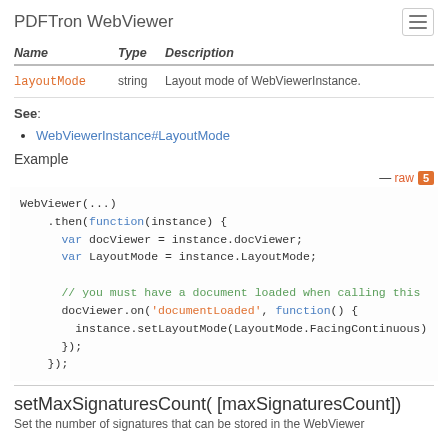PDFTron WebViewer
| Name | Type | Description |
| --- | --- | --- |
| layoutMode | string | Layout mode of WebViewerInstance. |
See:
WebViewerInstance#LayoutMode
Example
— raw 5
WebViewer(...)
    .then(function(instance) {
      var docViewer = instance.docViewer;
      var LayoutMode = instance.LayoutMode;

      // you must have a document loaded when calling this
      docViewer.on('documentLoaded', function() {
        instance.setLayoutMode(LayoutMode.FacingContinuous)
      });
    });
setMaxSignaturesCount( [maxSignaturesCount])
Set the number of signatures that can be stored in the WebViewer